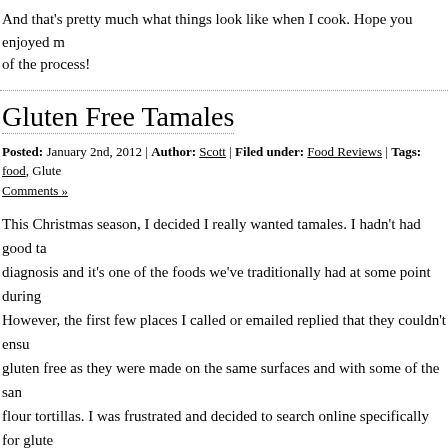And that's pretty much what things look like when I cook. Hope you enjoyed m of the process!
Gluten Free Tamales
Posted: January 2nd, 2012 | Author: Scott | Filed under: Food Reviews | Tags: food, Glute Comments »
This Christmas season, I decided I really wanted tamales. I hadn't had good ta diagnosis and it's one of the foods we've traditionally had at some point during However, the first few places I called or emailed replied that they couldn't ensu gluten free as they were made on the same surfaces and with some of the sar flour tortillas. I was frustrated and decided to search online specifically for glute trying to locate a local place, but ran across two different mail order companies their tamales were gluten free. Both looked pretty decent, so I decided to get s and compare them.
The first place is The Tamale Company (located in Dallas). I ordered a variety Of course I tried them a while ago and they hadn't been made by the s